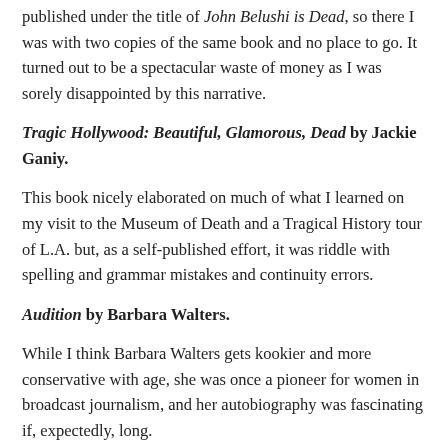published under the title of John Belushi is Dead, so there I was with two copies of the same book and no place to go. It turned out to be a spectacular waste of money as I was sorely disappointed by this narrative.
Tragic Hollywood: Beautiful, Glamorous, Dead by Jackie Ganiy.
This book nicely elaborated on much of what I learned on my visit to the Museum of Death and a Tragical History tour of L.A. but, as a self-published effort, it was riddle with spelling and grammar mistakes and continuity errors.
Audition by Barbara Walters.
While I think Barbara Walters gets kookier and more conservative with age, she was once a pioneer for women in broadcast journalism, and her autobiography was fascinating if, expectedly, long.